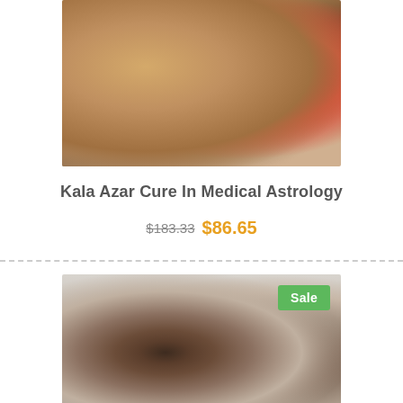[Figure (photo): Close-up macro photo of a mosquito feeding on skin, showing reddish engorged abdomen with yellow bristles]
Kala Azar Cure In Medical Astrology
$183.33 $86.65
[Figure (photo): Photo of a man looking down with a woman in the background, product listed as Sale]